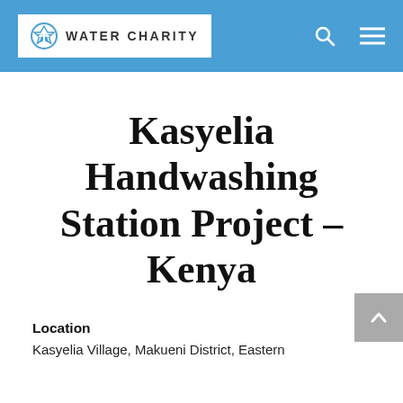WATER CHARITY
Kasyelia Handwashing Station Project – Kenya
Location
Kasyelia Village, Makueni District, Eastern